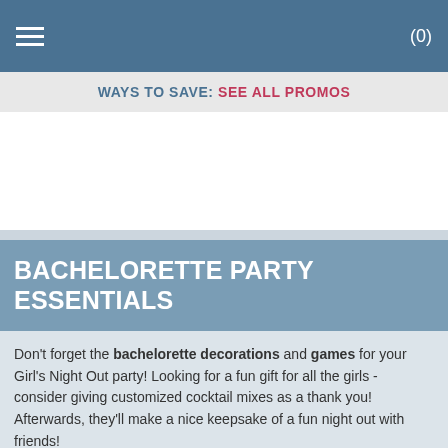(0)
WAYS TO SAVE: SEE ALL PROMOS
[Figure (other): Advertisement or blank white space area]
BACHELORETTE PARTY ESSENTIALS
Don't forget the bachelorette decorations and games for your Girl's Night Out party!  Looking for a fun gift for all the girls - consider giving customized cocktail mixes as a thank you!  Afterwards, they'll make a nice keepsake of a fun night out with friends!
"I Regret Nothing" Hangover